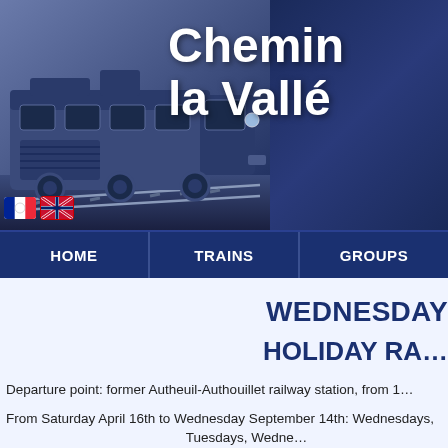[Figure (photo): Header banner showing a blue-tinted locomotive train on the left half, with white bold text 'Chemin de la Vallée' on the right. French and UK flag icons in lower left corner.]
Chemin de la Vallée
HOME   TRAINS   GROUPS
WEDNESDAY
HOLIDAY RAILWAY
Departure point: former Autheuil-Authouillet railway station, from 1...
From Saturday April 16th to Wednesday September 14th: Wednesdays, Tuesdays, Wedne...